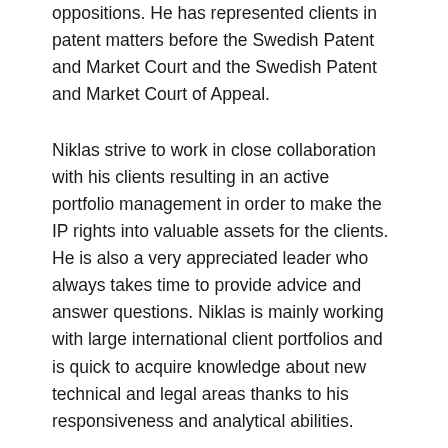oppositions. He has represented clients in patent matters before the Swedish Patent and Market Court and the Swedish Patent and Market Court of Appeal.
Niklas strive to work in close collaboration with his clients resulting in an active portfolio management in order to make the IP rights into valuable assets for the clients. He is also a very appreciated leader who always takes time to provide advice and answer questions. Niklas is mainly working with large international client portfolios and is quick to acquire knowledge about new technical and legal areas thanks to his responsiveness and analytical abilities.
While not in the office expanding his solid client portfolio, Niklas is the coach for two of his sons' soccer teams. The summers are spent with the